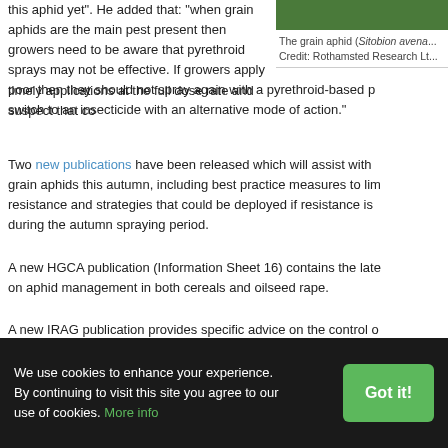this aphid yet". He added that: "when grain aphids are the main pest present then growers need to be aware that pyrethroid sprays may not be effective. If growers apply timely applications at the full dose rate and suspect that control is poor then they should not spray again with a pyrethroid-based product but switch to an insecticide with an alternative mode of action."
[Figure (photo): Photo of grain aphid (Sitobion avenae) on a cereal plant, green background. Credit: Rothamsted Research Lt...]
The grain aphid (Sitobion avena... Credit: Rothamsted Research Lt...
Two new publications have been released which will assist with grain aphids this autumn, including best practice measures to limit resistance and strategies that could be deployed if resistance is found during the autumn spraying period.
A new HGCA publication (Information Sheet 16) contains the latest advice on aphid management in both cereals and oilseed rape.
A new IRAG publication provides specific advice on the control of populations that may contain individuals with resistance to pyreth...
We use cookies to enhance your experience. By continuing to visit this site you agree to our use of cookies. More info